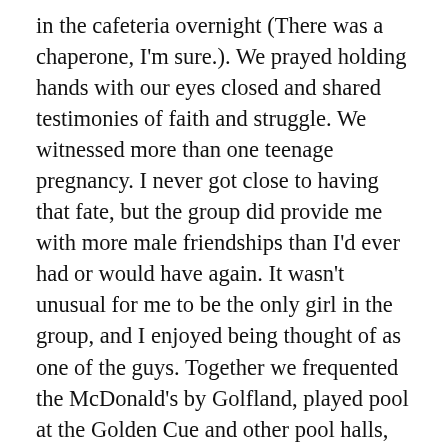in the cafeteria overnight (There was a chaperone, I'm sure.). We prayed holding hands with our eyes closed and shared testimonies of faith and struggle. We witnessed more than one teenage pregnancy. I never got close to having that fate, but the group did provide me with more male friendships than I'd ever had or would have again. It wasn't unusual for me to be the only girl in the group, and I enjoyed being thought of as one of the guys. Together we frequented the McDonald's by Golfland, played pool at the Golden Cue and other pool halls, drank, loitered, cruised, went dancing in Hollywood and Los Angeles, bowled, saw movies, threw house parties, and smoked cigars in Santa Monica. We were all over the place. But if we had any home turf, it was Epiphany. We had our ministries. I was in choir and others were lectors or ushers. We hung out talking after Mass. And then I'd get a ride home or somewhere else and my friend would dodge the